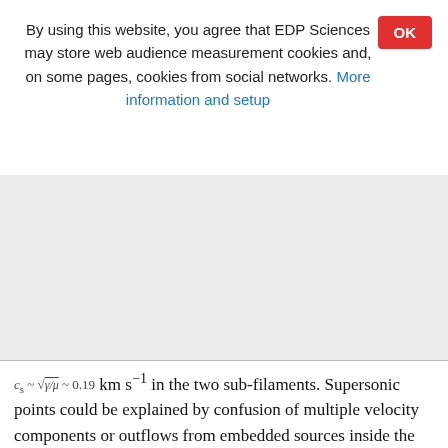By using this website, you agree that EDP Sciences may store web audience measurement cookies and, on some pages, cookies from social networks. More information and setup
[Figure (other): Gray shaded overlay region representing a partially loaded or obscured page area]
c_s ~ sqrt(gamma/mu) ~ 0.19 km s^{-1} in the two sub-filaments. Supersonic points could be explained by confusion of multiple velocity components or outflows from embedded sources inside the sub-filaments. The pattern of velocity dispersions may indicate that the sub-filaments are decoupled from the large-scale turbulent velocity field